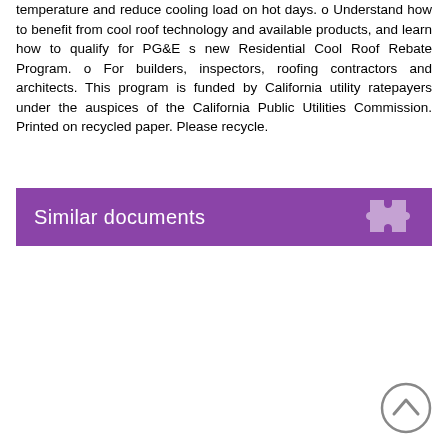temperature and reduce cooling load on hot days. o Understand how to benefit from cool roof technology and available products, and learn how to qualify for PG&E s new Residential Cool Roof Rebate Program. o For builders, inspectors, roofing contractors and architects. This program is funded by California utility ratepayers under the auspices of the California Public Utilities Commission. Printed on recycled paper. Please recycle.
Similar documents